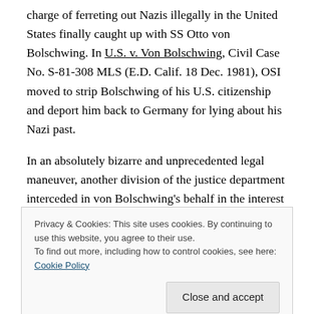charge of ferreting out Nazis illegally in the United States finally caught up with SS Otto von Bolschwing. In U.S. v. Von Bolschwing, Civil Case No. S-81-308 MLS (E.D. Calif. 18 Dec. 1981), OSI moved to strip Bolschwing of his U.S. citizenship and deport him back to Germany for lying about his Nazi past.
In an absolutely bizarre and unprecedented legal maneuver, another division of the justice department interceded in von Bolschwing's behalf in the interest of National Security. SS Bolschwing also had high level top
Privacy & Cookies: This site uses cookies. By continuing to use this website, you agree to their use. To find out more, including how to control cookies, see here: Cookie Policy
records and bar OSI depositions of him in the interest of